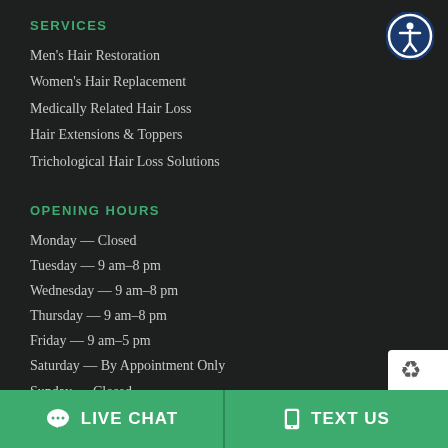SERVICES
Men's Hair Restoration
Women's Hair Replacement
Medically Related Hair Loss
Hair Extensions & Toppers
Trichological Hair Loss Solutions
OPENING HOURS
Monday — Closed
Tuesday — 9 am–8 pm
Wednesday — 9 am–8 pm
Thursday — 9 am–8 pm
Friday — 9 am–5 pm
Saturday — By Appointment Only
Sunday — Closed
[Figure (logo): Accessibility icon: white circle with person figure, dark blue ring border]
[Figure (logo): reCAPTCHA badge partially visible in bottom right corner]
LIVE CHAT   TEXT US